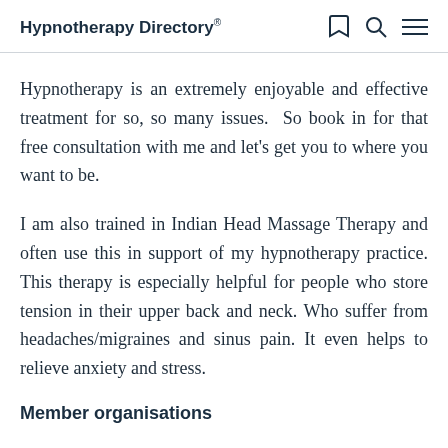Hypnotherapy Directory®
Hypnotherapy is an extremely enjoyable and effective treatment for so, so many issues.  So book in for that free consultation with me and let's get you to where you want to be.
I am also trained in Indian Head Massage Therapy and often use this in support of my hypnotherapy practice. This therapy is especially helpful for people who store tension in their upper back and neck. Who suffer from headaches/migraines and sinus pain. It even helps to relieve anxiety and stress.
Member organisations